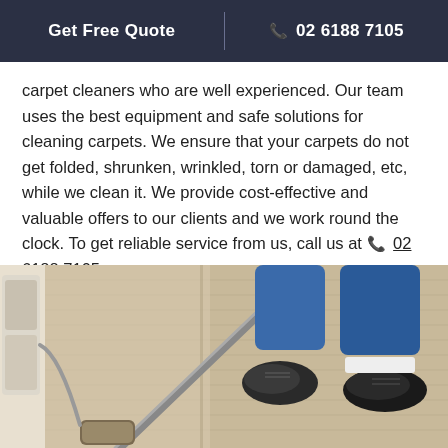Get Free Quote | ☎ 02 6188 7105
carpet cleaners who are well experienced. Our team uses the best equipment and safe solutions for cleaning carpets. We ensure that your carpets do not get folded, shrunken, wrinkled, torn or damaged, etc, while we clean it. We provide cost-effective and valuable offers to our clients and we work round the clock. To get reliable service from us, call us at ☎ 02 6188 7105.
[Figure (photo): A carpet cleaning professional using a steam cleaning wand/tool on a light beige/tan carpet, viewed from above. The person is wearing blue pants and dark shoes. The carpet cleaning equipment handle is visible.]